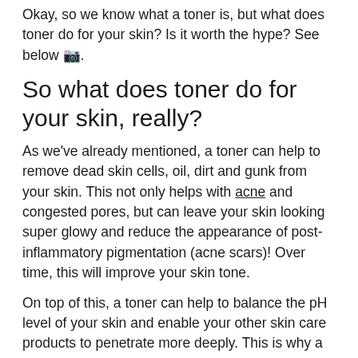Okay, so we know what a toner is, but what does toner do for your skin? Is it worth the hype? See below 🙂.
So what does toner do for your skin, really?
As we've already mentioned, a toner can help to remove dead skin cells, oil, dirt and gunk from your skin. This not only helps with acne and congested pores, but can leave your skin looking super glowy and reduce the appearance of post-inflammatory pigmentation (acne scars)! Over time, this will improve your skin tone.
On top of this, a toner can help to balance the pH level of your skin and enable your other skin care products to penetrate more deeply. This is why a